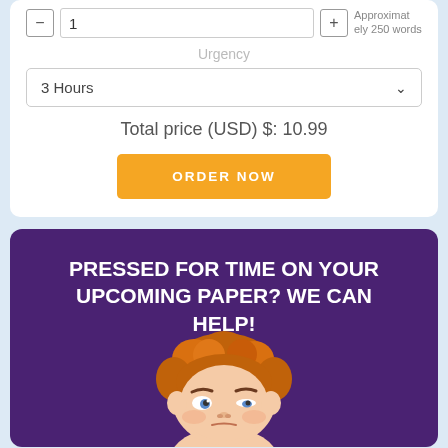1
Approximately 250 words
Urgency
3 Hours
Total price (USD) $: 10.99
ORDER NOW
Pressed for time on your upcoming paper? We can help!
[Figure (illustration): Cartoon illustration of a stressed student character with red/orange hair, peeking up from the bottom of a purple card]